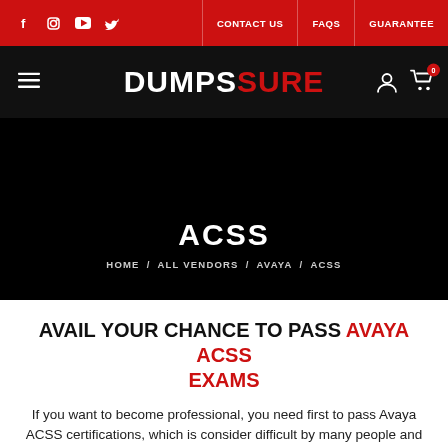DumpsSure — CONTACT US / FAQS / GUARANTEE
[Figure (screenshot): DumpsSure website header with logo, hamburger menu, social icons, navigation links and cart icon on black background]
ACSS
HOME / ALL VENDORS / AVAYA / ACSS
AVAIL YOUR CHANCE TO PASS AVAYA ACSS EXAMS
If you want to become professional, you need first to pass Avaya ACSS certifications, which is consider difficult by many people and